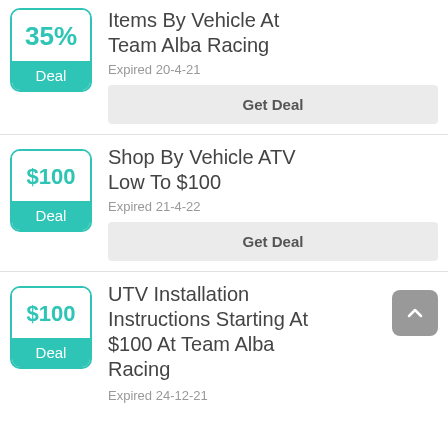[Figure (infographic): Deal badge showing 35% with teal border and Deal label]
Items By Vehicle At Team Alba Racing
Expired 20-4-21
Get Deal
[Figure (infographic): Deal badge showing $100 with teal border and Deal label]
Shop By Vehicle ATV Low To $100
Expired 21-4-22
Get Deal
[Figure (infographic): Deal badge showing $100 with teal border and Deal label]
UTV Installation Instructions Starting At $100 At Team Alba Racing
Expired 24-12-21